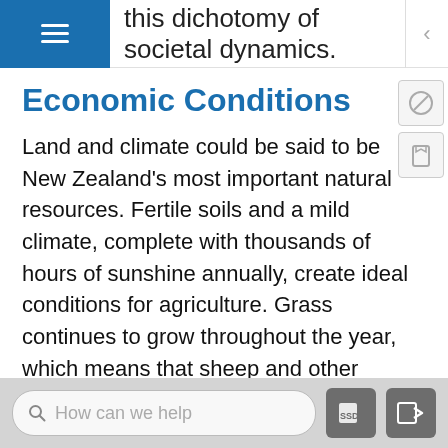this dichotomy of societal dynamics.
Economic Conditions
Land and climate could be said to be New Zealand's most important natural resources. Fertile soils and a mild climate, complete with thousands of hours of sunshine annually, create ideal conditions for agriculture. Grass continues to grow throughout the year, which means that sheep and other livestock can be well grazed. Wool and other agricultural products, notably meat and butter, are important exports for New Zealand's economy. Healthy forests produce timber products, which are important to the economy as well. Some of New Zealand's natural resources are found